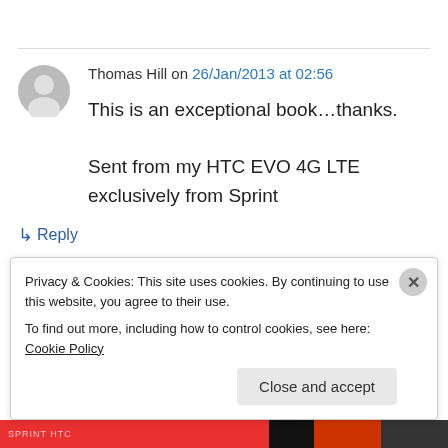[Figure (illustration): Gray user avatar icon (silhouette of a person)]
Thomas Hill on 26/Jan/2013 at 02:56
This is an exceptional book…thanks.

Sent from my HTC EVO 4G LTE exclusively from Sprint
↳ Reply
Privacy & Cookies: This site uses cookies. By continuing to use this website, you agree to their use.
To find out more, including how to control cookies, see here: Cookie Policy
Close and accept